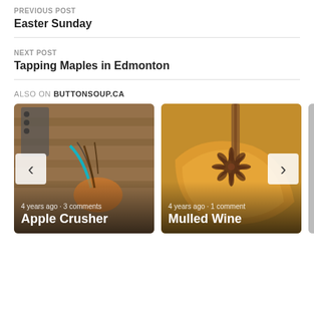PREVIOUS POST
Easter Sunday
NEXT POST
Tapping Maples in Edmonton
ALSO ON BUTTONSOUP.CA
[Figure (photo): Card showing Apple Crusher post: photo of a hand-held plant/apple cutting tool with wire and organic material, with text '4 years ago • 3 comments' and title 'Apple Crusher']
[Figure (photo): Card showing Mulled Wine post: photo of star anise and orange peel garnish, with text '4 years ago • 1 comment' and title 'Mulled Wine']